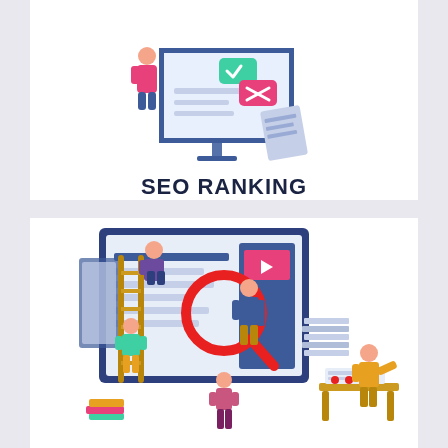[Figure (illustration): Isometric illustration of a laptop/monitor screen with a checkmark (green) and X (pink) buttons, and a person figure, representing SEO ranking concept]
SEO RANKING
[Figure (illustration): Isometric illustration of multiple people working around a large monitor screen with a ladder, magnifying glass with search icon, video thumbnail, and a person at a desk, representing SEO/digital marketing teamwork]